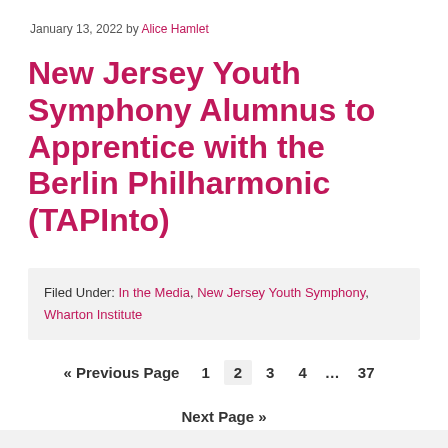January 13, 2022 by Alice Hamlet
New Jersey Youth Symphony Alumnus to Apprentice with the Berlin Philharmonic (TAPInto)
Filed Under: In the Media, New Jersey Youth Symphony, Wharton Institute
« Previous Page  1  2  3  4  …  37
Next Page »